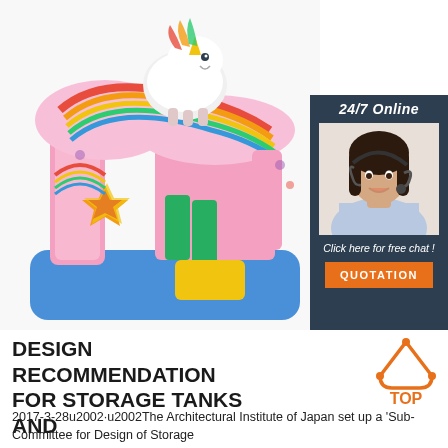[Figure (photo): Colorful inflatable bounce castle with a unicorn on top, rainbow slide, pink and blue sections, yellow slide base, star decorations]
[Figure (infographic): Dark blue/grey chat box with '24/7 Online' header, a female customer service agent wearing a headset, text 'Click here for free chat!', and an orange QUOTATION button]
DESIGN RECOMMENDATION FOR STORAGE TANKS AND
[Figure (logo): Orange triangle/arch logo with dots and 'TOP' text in orange below it]
2017-3-28u2002·u2002The Architectural Institute of Japan set up a 'Sub-Committee for Design of Storage